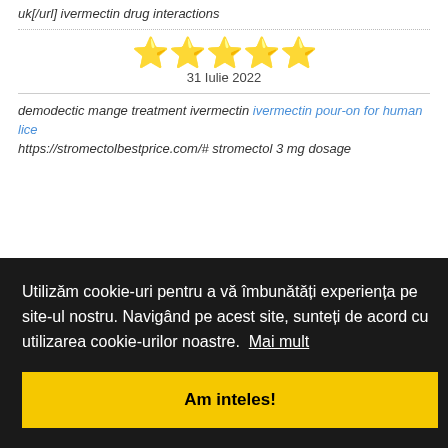uk[/url] ivermectin drug interactions
[Figure (other): 5 yellow star rating]
31 Iulie 2022
demodectic mange treatment ivermectin ivermectin pour-on for human lice https://stromectolbestprice.com/# stromectol 3 mg dosage
Utilizăm cookie-uri pentru a vă îmbunătăți experiența pe site-ul nostru. Navigând pe acest site, sunteți de acord cu utilizarea cookie-urilor noastre. Mai mult
Am inteles!